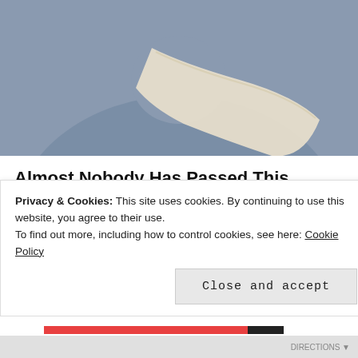BACK TO TOP
[Figure (photo): Partial view of a person in a gray-blue outfit holding a white scroll or rolled paper, bottom portion visible]
Almost Nobody Has Passed This Classic Logo Quiz
WarpedSpeed
[Figure (photo): Red Marine Corps Base Camp Lejeune welcome sign with various military unit badges/patches]
Were you stationed at Camp Lejeune 1953-1987?
Camp Lejeune Lawsuit Settlement
Privacy & Cookies: This site uses cookies. By continuing to use this website, you agree to their use.
To find out more, including how to control cookies, see here: Cookie Policy
Close and accept